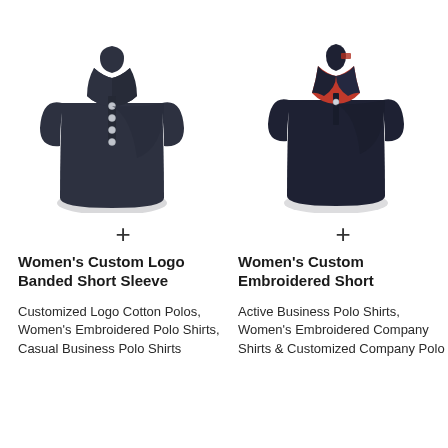[Figure (photo): Dark navy women's polo shirt with short sleeves and button placket, shown on a mannequin or flat lay]
[Figure (photo): Dark navy women's polo shirt with short sleeves, one button, and red/plaid inner collar detail, shown on a mannequin or flat lay]
+
Women's Custom Logo Banded Short Sleeve
Customized Logo Cotton Polos, Women's Embroidered Polo Shirts, Casual Business Polo Shirts
+
Women's Custom Embroidered Short
Active Business Polo Shirts, Women's Embroidered Company Shirts & Customized Company Polo